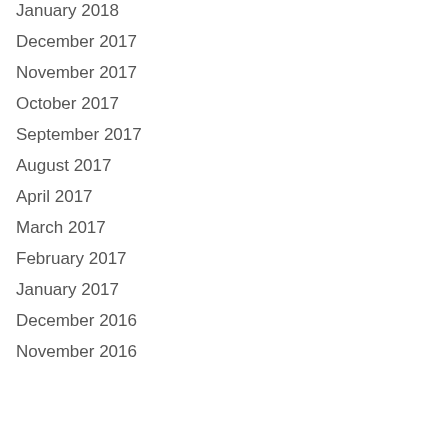January 2018
December 2017
November 2017
October 2017
September 2017
August 2017
April 2017
March 2017
February 2017
January 2017
December 2016
November 2016